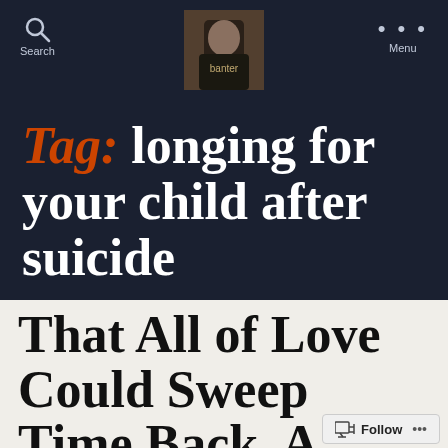[Figure (screenshot): Blog website screenshot showing a dark navy navigation bar with a search icon, a profile photo in the center, and a menu icon with three dots]
Tag: longing for your child after suicide
That All of Love Could Sweep Time Back, A
Follow